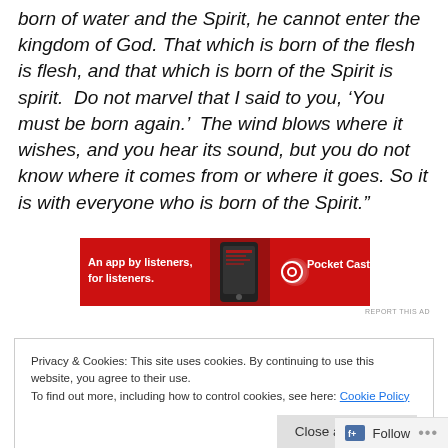born of water and the Spirit, he cannot enter the kingdom of God. That which is born of the flesh is flesh, and that which is born of the Spirit is spirit.  Do not marvel that I said to you, ‘You must be born again.’  The wind blows where it wishes, and you hear its sound, but you do not know where it comes from or where it goes. So it is with everyone who is born of the Spirit.”
[Figure (screenshot): Advertisement banner for Pocket Casts app: 'An app by listeners, for listeners.' with red background and Pocket Casts logo]
REPORT THIS AD
Privacy & Cookies: This site uses cookies. By continuing to use this website, you agree to their use.
To find out more, including how to control cookies, see here: Cookie Policy
Close and accept
Follow